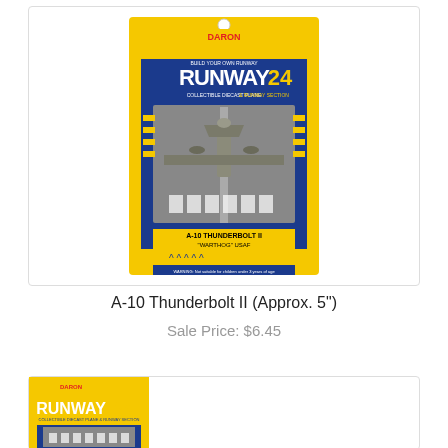[Figure (photo): Product photo of Daron Runway 24 collectible diecast plane set featuring A-10 Thunderbolt II Warthog USAF, in yellow and blue packaging with runway section]
A-10 Thunderbolt II (Approx. 5")
Sale Price: $6.45
[Figure (photo): Partial product photo of another Daron Runway 24 collectible diecast plane set, showing yellow packaging with RUNWAY 24 logo]